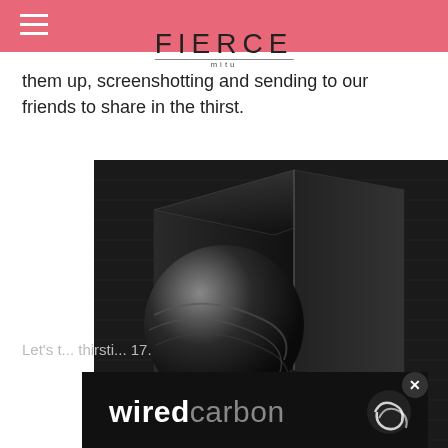FIERCE | mitu
them up, screenshotting and sending to our friends to share in the thirst.
[Figure (photo): Dark 3D rendered geometric product box/cube with a sphere and the wiredcarbon logo on a dark background]
Let's t... thirsti... 17.
[Figure (logo): wiredcarbon advertisement banner with logo on dark background and close button]